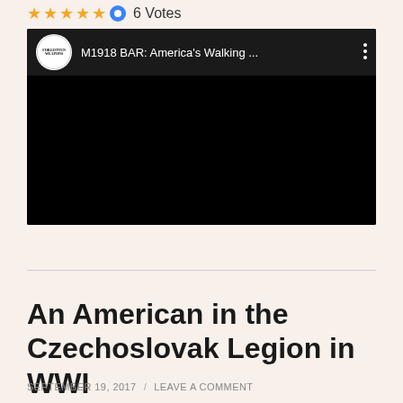[Figure (screenshot): Star rating display showing 5 gold stars and 1 blue circle, followed by '6 Votes' text]
[Figure (screenshot): Embedded YouTube-style video player with black background. Header shows 'Forgotten Weapons' channel logo (circular, white background), title 'M1918 BAR: America's Walking ...' in white text, and a three-dot menu icon. Video content area is black.]
An American in the Czechoslovak Legion in WWI
SEPTEMBER 19, 2017 / LEAVE A COMMENT